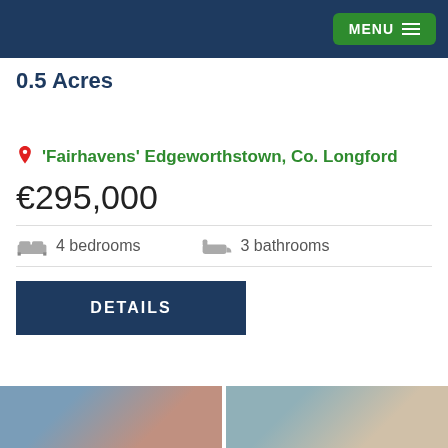MENU
0.5 Acres
'Fairhavens' Edgeworthstown, Co. Longford
€295,000
4 bedrooms   3 bathrooms
DETAILS
[Figure (photo): Thumbnail photos of the property at the bottom of the page]